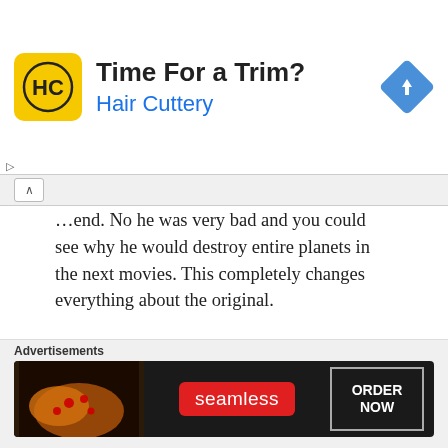[Figure (screenshot): Hair Cuttery advertisement banner with yellow logo, 'Time For a Trim?' heading, blue subtitle 'Hair Cuttery', and blue diamond navigation icon on the right.]
...end.  No he was very bad and you could see why he would destroy entire planets in the next movies.   This completely changes everything about the original.
I'm amazed this didn't tick more people off.  I thought it was outrageous.   Shame on you Disney!  Wicked, which started this whole trend, told the story how the wicked witch became wicked.  It didn't try to change her so she wasn't wicked at all.
[Figure (screenshot): Seamless food delivery advertisement with pizza image on left, red Seamless logo in center, and 'ORDER NOW' button on right, all on dark background.]